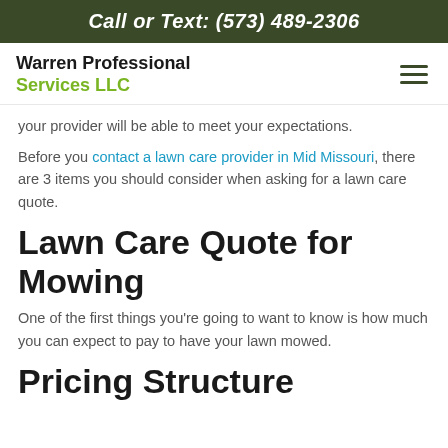Call or Text: (573) 489-2306
Warren Professional Services LLC
your provider will be able to meet your expectations.
Before you contact a lawn care provider in Mid Missouri, there are 3 items you should consider when asking for a lawn care quote.
Lawn Care Quote for Mowing
One of the first things you’re going to want to know is how much you can expect to pay to have your lawn mowed.
Pricing Structure